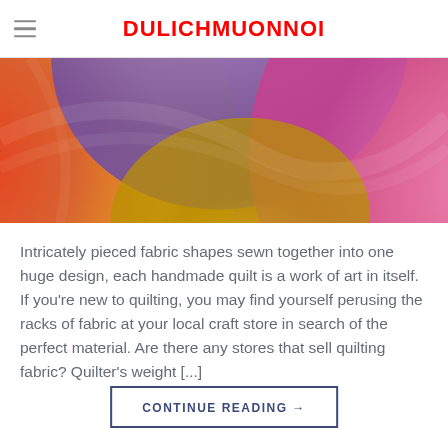DULICHMUONNOI
[Figure (photo): Colorful swirling fabric layers in red, orange, yellow, purple, and pink tones]
Intricately pieced fabric shapes sewn together into one huge design, each handmade quilt is a work of art in itself. If you’re new to quilting, you may find yourself perusing the racks of fabric at your local craft store in search of the perfect material. Are there any stores that sell quilting fabric? Quilter’s weight [...]
CONTINUE READING →